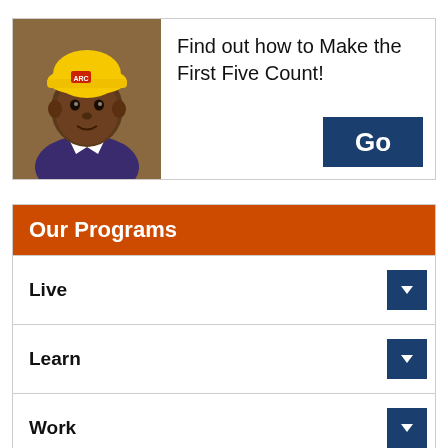[Figure (photo): A baby wearing a yellow hard hat and a purple outfit, looking at the camera]
Find out how to Make the First Five Count!
Go
Our Programs
Live
Learn
Work
Play